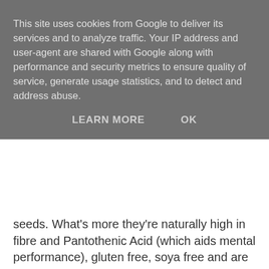This site uses cookies from Google to deliver its services and to analyze traffic. Your IP address and user-agent are shared with Google along with performance and security metrics to ensure quality of service, generate usage statistics, and to detect and address abuse.
LEARN MORE    OK
seeds. What's more they're naturally high in fibre and Pantothenic Acid (which aids mental performance), gluten free, soya free and are suitable for vegetarians.
ViPnuts Hot Chilli £1.25
Introducing New York Delhi's ViPnuts - the gourmet peanut brand. Our unique take on one of the world's favourite snacks. Hot Chilli is the one for the chilli lovers out there - this is not an imposter like so many - this really does not disappoint if you yearn for that chilli kick and depth of flavour then this is the one for